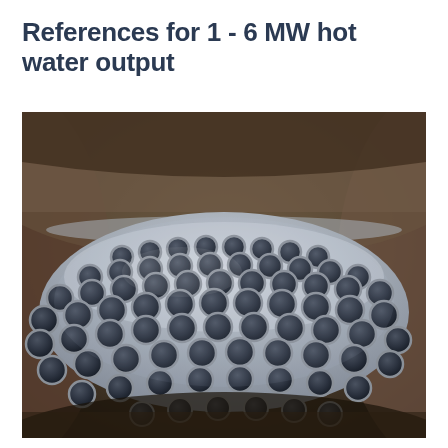References for 1 - 6 MW hot water output
[Figure (photo): Close-up interior view of a large industrial hot water boiler or heat exchanger vessel, showing a perforated metal plate with numerous circular tube openings arranged in a grid pattern, partially submerged in water. The surrounding vessel wall is made of dark, aged metal or concrete.]